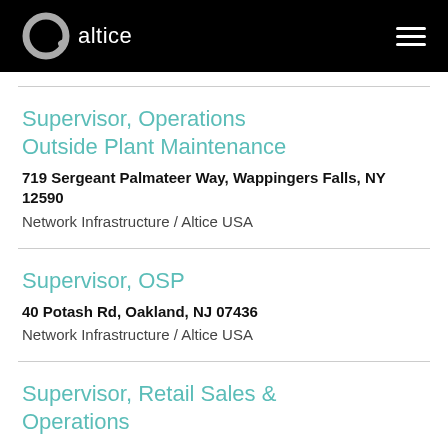altice
Supervisor, Operations Outside Plant Maintenance
719 Sergeant Palmateer Way, Wappingers Falls, NY 12590
Network Infrastructure / Altice USA
Supervisor, OSP
40 Potash Rd, Oakland, NJ 07436
Network Infrastructure / Altice USA
Supervisor, Retail Sales & Operations